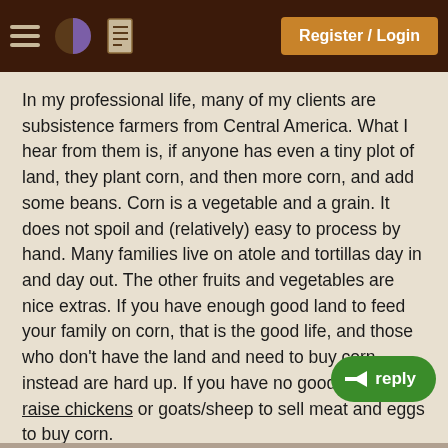Register / Login
In my professional life, many of my clients are subsistence farmers from Central America. What I hear from them is, if anyone has even a tiny plot of land, they plant corn, and then more corn, and add some beans. Corn is a vegetable and a grain. It does not spoil and (relatively) easy to process by hand. Many families live on atole and tortillas day in and day out. The other fruits and vegetables are nice extras. If you have enough good land to feed your family on corn, that is the good life, and those who don't have the land and need to buy corn instead are hard up. If you have no good land, you raise chickens or goats/sheep to sell meat and eggs to buy corn.
Totally different from urban gardeners here who concentrate, like you say, on the vitamin-rich veggies like tomatoes, peppers, spinach, etc.